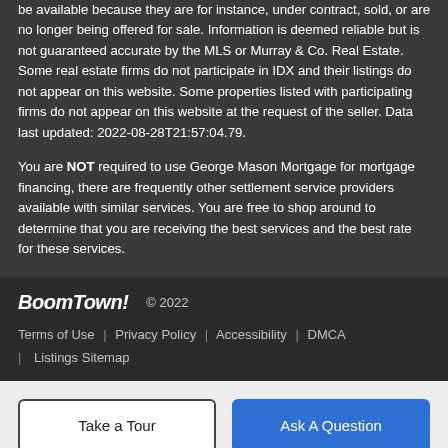be available because they are for instance, under contract, sold, or are no longer being offered for sale. Information is deemed reliable but is not guaranteed accurate by the MLS or Murray & Co. Real Estate. Some real estate firms do not participate in IDX and their listings do not appear on this website. Some properties listed with participating firms do not appear on this website at the request of the seller. Data last updated: 2022-08-28T21:57:04.79.
You are NOT required to use George Mason Mortgage for mortgage financing, there are frequently other settlement service providers available with similar services. You are free to shop around to determine that you are receiving the best services and the best rate for these services.
BoomTown! © 2022 | Terms of Use | Privacy Policy | Accessibility | DMCA | Listings Sitemap